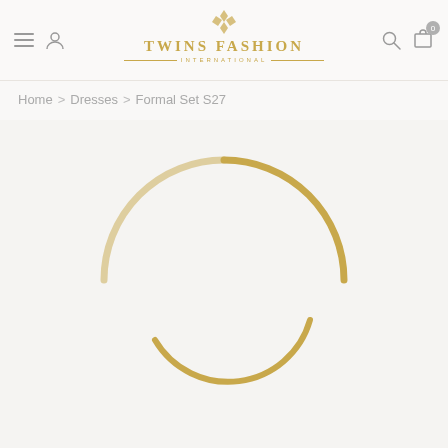[Figure (logo): Twins Fashion International logo with diamond ornament above the text and decorative horizontal rules flanking 'International']
Home > Dresses > Formal Set S27
[Figure (other): Golden circular loading spinner animation on a light beige background]